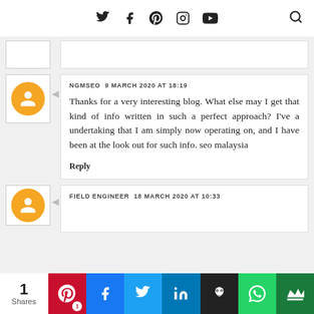Social media icon bar with Twitter, Facebook, Pinterest, Instagram, YouTube icons and search
NGMSEO  9 MARCH 2020 AT 18:19
Thanks for a very interesting blog. What else may I get that kind of info written in such a perfect approach? I've a undertaking that I am simply now operating on, and I have been at the look out for such info. seo malaysia
Reply
FIELD ENGINEER  18 MARCH 2020 AT 10:33
1 Shares